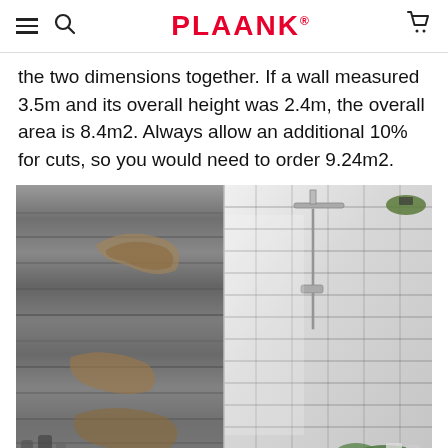PLAANK®
the two dimensions together. If a wall measured 3.5m and its overall height was 2.4m, the overall area is 8.4m2. Always allow an additional 10% for cuts, so you would need to order 9.24m2.
[Figure (photo): Split image showing two bathrooms: left side shows a rustic wall with grey weathered wood planks (some damage visible), right side shows a modern shower area with white subway tiles, a rainfall shower head, and a potted plant.]